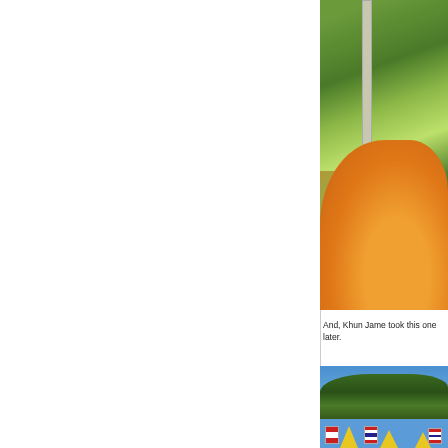[Figure (photo): Close-up photo of a monk in orange robes from behind, with a concrete pole and lush green tropical vegetation in the background.]
And, Khun Jame took this one later.
[Figure (photo): Outdoor photo showing yellow triangular flags and Thai flags on poles in front of large green trees against a blue sky.]